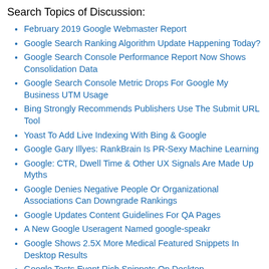Search Topics of Discussion:
February 2019 Google Webmaster Report
Google Search Ranking Algorithm Update Happening Today?
Google Search Console Performance Report Now Shows Consolidation Data
Google Search Console Metric Drops For Google My Business UTM Usage
Bing Strongly Recommends Publishers Use The Submit URL Tool
Yoast To Add Live Indexing With Bing & Google
Google Gary Illyes: RankBrain Is PR-Sexy Machine Learning
Google: CTR, Dwell Time & Other UX Signals Are Made Up Myths
Google Denies Negative People Or Organizational Associations Can Downgrade Rankings
Google Updates Content Guidelines For QA Pages
A New Google Useragent Named google-speakr
Google Shows 2.5X More Medical Featured Snippets In Desktop Results
Google Tests Event Rich Snippets On Desktop